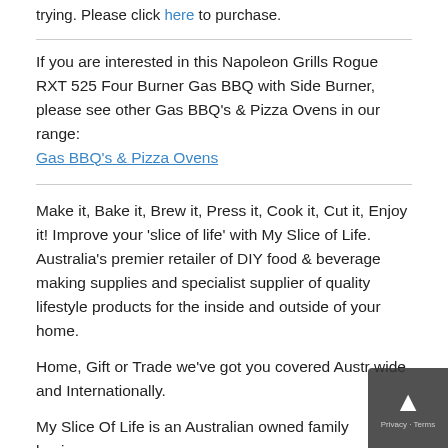trying. Please click here to purchase.
If you are interested in this Napoleon Grills Rogue RXT 525 Four Burner Gas BBQ with Side Burner, please see other Gas BBQ's & Pizza Ovens in our range:
Gas BBQ's & Pizza Ovens
Make it, Bake it, Brew it, Press it, Cook it, Cut it, Enjoy it! Improve your 'slice of life' with My Slice of Life. Australia's premier retailer of DIY food & beverage making supplies and specialist supplier of quality lifestyle products for the inside and outside of your home.
Home, Gift or Trade we've got you covered Australia wide and Internationally.
My Slice Of Life is an Australian owned family business